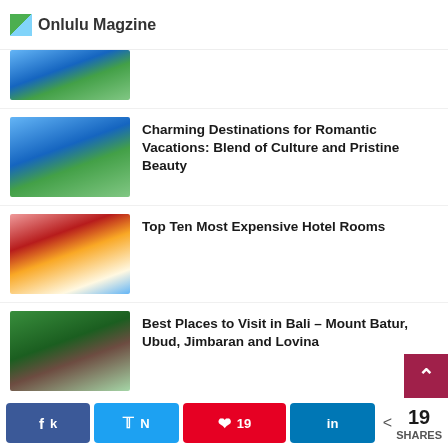Onlulu Magzine
Charming Destinations for Romantic Vacations: Blend of Culture and Pristine Beauty
Top Ten Most Expensive Hotel Rooms
Best Places to Visit in Bali – Mount Batur, Ubud, Jimbaran and Lovina
The Great Wall of China – Urban Legend, History of Greatness and
19 SHARES